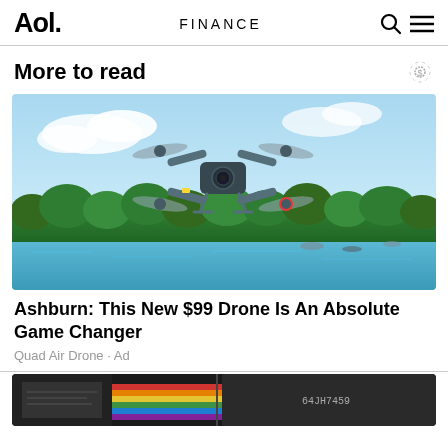Aol. | FINANCE
More to read
[Figure (photo): A DJI drone (quadcopter) flying in the air with blue sky, clouds, a river, and green trees in the background.]
Ashburn: This New $99 Drone Is An Absolute Game Changer
Quad Air Drone · Ad
[Figure (photo): Partially visible image of colorful items at the bottom of the page, appears to be VHS tapes or similar media.]